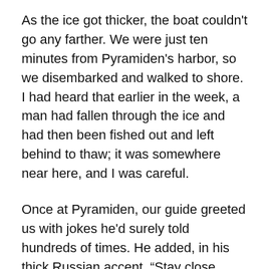As the ice got thicker, the boat couldn't go any farther. We were just ten minutes from Pyramiden's harbor, so we disembarked and walked to shore. I had heard that earlier in the week, a man had fallen through the ice and had then been fished out and left behind to thaw; it was somewhere near here, and I was careful.
Once at Pyramiden, our guide greeted us with jokes he'd surely told hundreds of times. He added, in his thick Russian accent, “Stay close. Last year someone wandered off and was eaten by a polar bear.” We didn't know whether to believe him; either way, after walking for only a few minutes, our group carelessly dispersed.
We learned that Pyramiden was conceived by the Soviets as